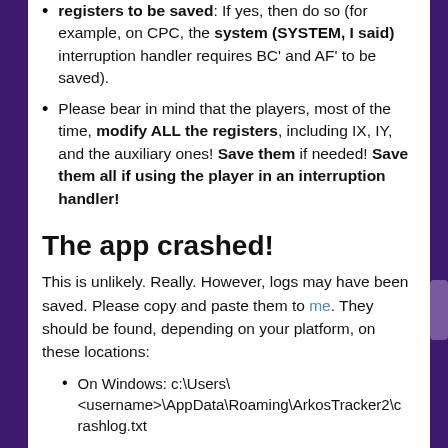registers to be saved: If yes, then do so (for example, on CPC, the system (SYSTEM, I said) interruption handler requires BC' and AF' to be saved).
Please bear in mind that the players, most of the time, modify ALL the registers, including IX, IY, and the auxiliary ones! Save them if needed! Save them all if using the player in an interruption handler!
The app crashed!
This is unlikely. Really. However, logs may have been saved. Please copy and paste them to me. They should be found, depending on your platform, on these locations:
On Windows: c:\Users\<username>\AppData\Roaming\ArkosTracker2\crashlog.txt